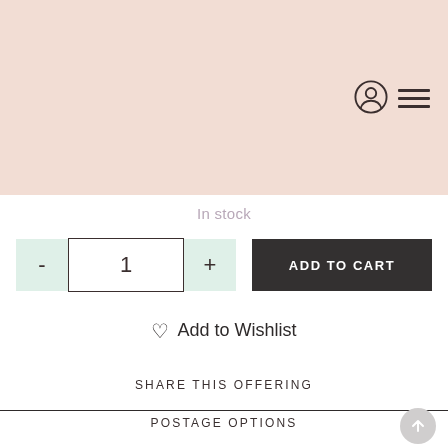[Figure (screenshot): E-commerce product page screenshot with pink/blush hero image area at top, navigation icons (user and hamburger menu), quantity selector, add to cart button, wishlist link, share section, and postage options section]
In stock
- 1 +
ADD TO CART
♡ Add to Wishlist
SHARE THIS OFFERING
POSTAGE OPTIONS